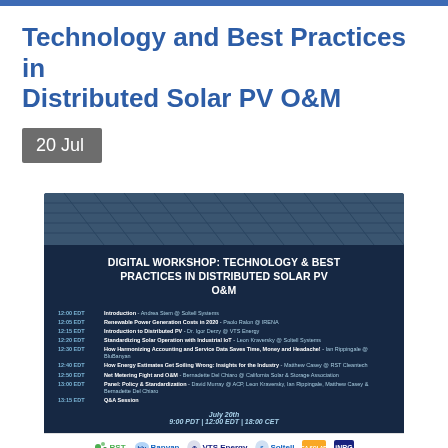Technology and Best Practices in Distributed Solar PV O&M
20 Jul
[Figure (infographic): Digital Workshop banner for Technology & Best Practices in Distributed Solar PV O&M, showing agenda with times from 12:00–13:15 EDT on July 20th, 9:00 PDT | 12:00 EDT | 18:00 CET, with logos for RST, BluBanyan, VTS Energy, Soltell, California Solar & Storage Association, and iNRG]
Learn how technology and best practices in distributed solar O&M will define the future of the distributed solar PV market. This event is designated for professionals affiliated with distributed solar PV, including solar fleet managers, roofers, solar integrators, lenders &